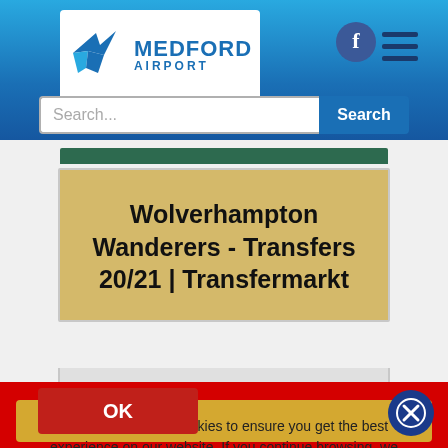[Figure (screenshot): Medford Airport logo with stylized bird icon in blue and white, with text MEDFORD AIRPORT]
[Figure (screenshot): Website header with blue gradient background, search bar with placeholder 'Search...' and Search button, Facebook icon, hamburger menu icon]
Wolverhampton Wanderers - Transfers 20/21 | Transfermarkt
This website uses cookies to ensure you get the best experience on our website. If you continue browsing, we consider that you accept their use. More Info
OK